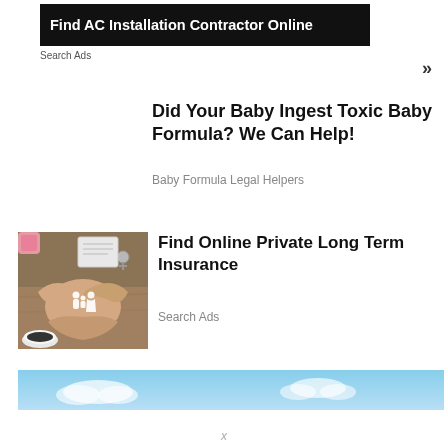[Figure (screenshot): Black banner ad: Find AC Installation Contractor Online]
Search Ads
»
Did Your Baby Ingest Toxic Baby Formula? We Can Help!
Baby Formula Legal Helpers
[Figure (photo): Hands cupped together holding a small paper family cutout, with a coffee cup and wooden table background]
Find Online Private Long Term Insurance
Search Ads
[Figure (photo): Blue sky banner at the bottom]